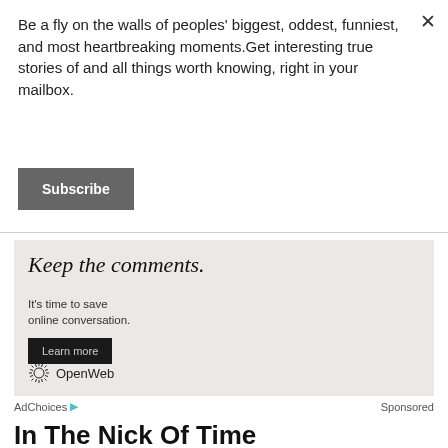Be a fly on the walls of peoples' biggest, oddest, funniest, and most heartbreaking moments.Get interesting true stories of and all things worth knowing, right in your mailbox.
Subscribe
[Figure (screenshot): Advertisement banner with light pink/beige background. Text reads 'Keep the comments.' in large italic serif font. Below: 'It's time to save online conversation.' with a 'Learn more' button and OpenWeb logo at bottom.]
AdChoices  Sponsored
In The Nick Of Time